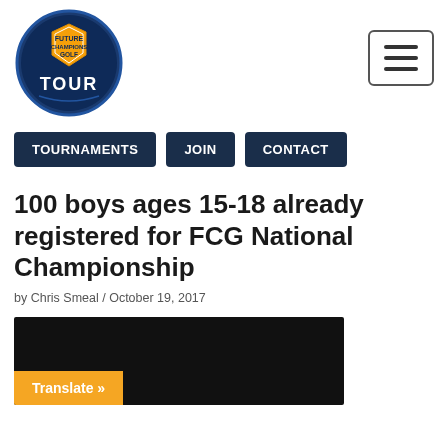[Figure (logo): Future Champions Golf Tour circular logo with dark blue background and orange shield, text TOUR at bottom]
[Figure (other): Hamburger menu button (three horizontal lines) in a rounded rectangle border]
TOURNAMENTS
JOIN
CONTACT
100 boys ages 15-18 already registered for FCG National Championship
by Chris Smeal / October 19, 2017
[Figure (photo): Dark/black image area with an orange Translate button overlay at bottom left]